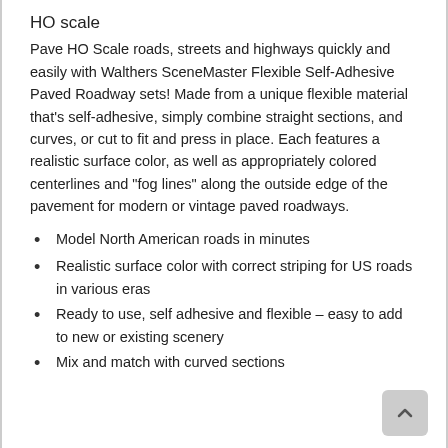HO scale
Pave HO Scale roads, streets and highways quickly and easily with Walthers SceneMaster Flexible Self-Adhesive Paved Roadway sets! Made from a unique flexible material that’s self-adhesive, simply combine straight sections, and curves, or cut to fit and press in place. Each features a realistic surface color, as well as appropriately colored centerlines and “fog lines” along the outside edge of the pavement for modern or vintage paved roadways.
Model North American roads in minutes
Realistic surface color with correct striping for US roads in various eras
Ready to use, self adhesive and flexible – easy to add to new or existing scenery
Mix and match with curved sections